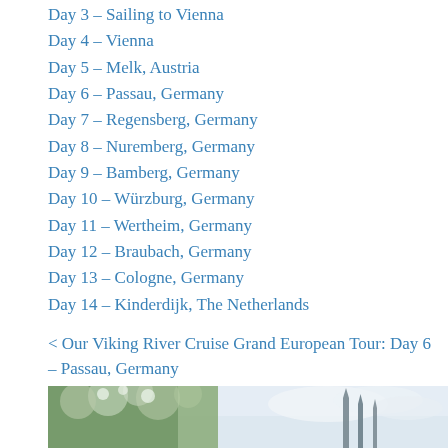Day 3 – Sailing to Vienna
Day 4 – Vienna
Day 5 – Melk, Austria
Day 6 – Passau, Germany
Day 7 – Regensberg, Germany
Day 8 – Nuremberg, Germany
Day 9 – Bamberg, Germany
Day 10 – Würzburg, Germany
Day 11 – Wertheim, Germany
Day 12 – Braubach, Germany
Day 13 – Cologne, Germany
Day 14 – Kinderdijk, The Netherlands
< Our Viking River Cruise Grand European Tour: Day 6 – Passau, Germany
[Figure (photo): Photo showing tree branches with blossoms on the left and church spires against a cloudy sky on the right, likely in Cologne, Germany]